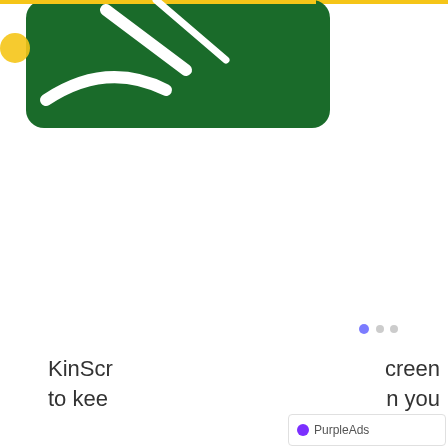[Figure (screenshot): App icon or screenshot on a dark green rounded rectangle background with white diagonal lines/arrows visible. A yellow circle partially visible on the left edge. Top yellow bar accent.]
KinScr
creen
to kee
n you
PurpleAds